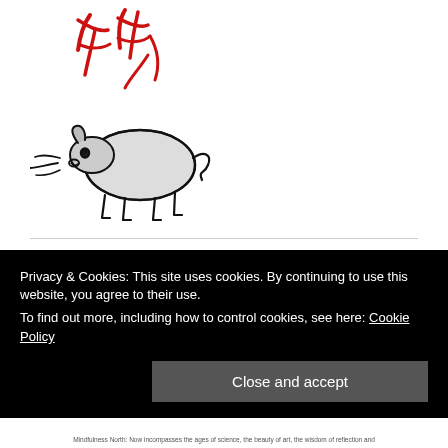[Figure (logo): Stylized logo with red brush-stroke Chinese characters above a black ink illustration of a resting ox/bull with steam lines, suggesting a traditional East Asian art style]
compass
Register
Log in
Entries feed
Comments feed
Privacy & Cookies: This site uses cookies. By continuing to use this website, you agree to their use.
To find out more, including how to control cookies, see here: Cookie Policy
Close and accept
Mindfulness North: Now incompasses the ages of science, the beauty of art, the wisdom of reflection and